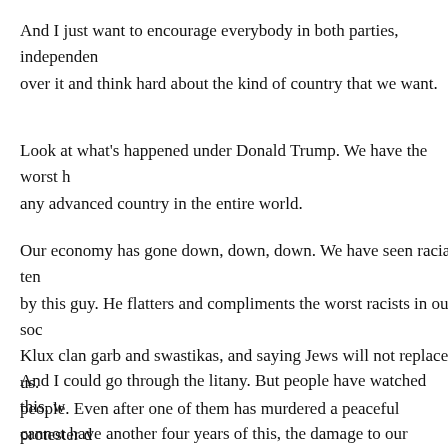And I just want to encourage everybody in both parties, independent, over it and think hard about the kind of country that we want.
Look at what's happened under Donald Trump. We have the worst health outcomes of any advanced country in the entire world.
Our economy has gone down, down, down. We have seen racial tensions inflamed by this guy. He flatters and compliments the worst racists in our society, marching in Klux clan garb and swastikas, and saying Jews will not replace us. And he calls them fine people. Even after one of them has murdered a peaceful protester downtown.
And I could go through the litany. But people have watched this, we simply cannot have another four years of this, the damage to our country would be -- it's already bad enough that we have to got to have the Biden-Harris
Administration to come in and fix things and restore the country.